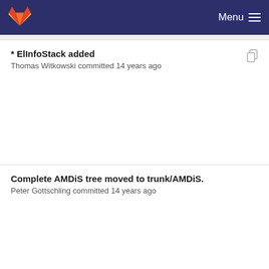Menu
* ElInfoStack added
Thomas Witkowski committed 14 years ago
Complete AMDiS tree moved to trunk/AMDiS.
Peter Gottschling committed 14 years ago
* ElInfoStack added